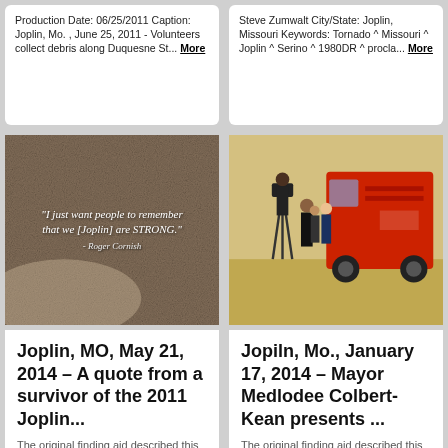Production Date: 06/25/2011 Caption: Joplin, Mo. , June 25, 2011 - Volunteers collect debris along Duquesne St... More
Steve Zumwalt City/State: Joplin, Missouri Keywords: Tornado ^ Missouri ^ Joplin ^ Serino ^ 1980DR ^ procla... More
[Figure (photo): Quote engraved or written on concrete surface: 'I just want people to remember that we [Joplin] are STRONG.' - Roger Cornish]
[Figure (photo): Interior of a building with a red fire truck. A person with a camera on tripod interviews officials; several people are standing around.]
Joplin, MO, May 21, 2014 – A quote from a survivor of the 2011 Joplin...
The original finding aid described this as: Date Taken: 2014-05-21 15:21:51 UTS Photographer Name:
Jopiln, Mo., January 17, 2014 – Mayor Medlodee Colbert-Kean presents ...
The original finding aid described this as: Date Taken: 2014-01-17 00:00:... UTS Photographer Name: